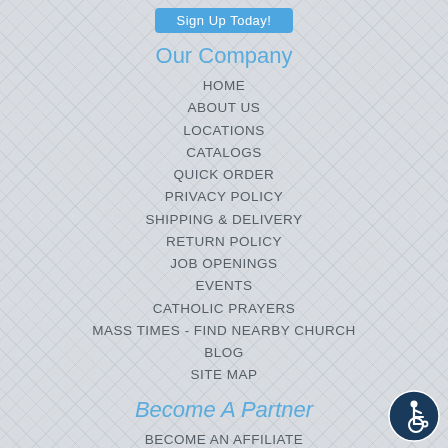Sign Up Today!
Our Company
HOME
ABOUT US
LOCATIONS
CATALOGS
QUICK ORDER
PRIVACY POLICY
SHIPPING & DELIVERY
RETURN POLICY
JOB OPENINGS
EVENTS
CATHOLIC PRAYERS
MASS TIMES - FIND NEARBY CHURCH
BLOG
SITE MAP
Become A Partner
BECOME AN AFFILIATE
AFFILIATE APPLICATION
[Figure (illustration): Accessibility icon: circular navy blue badge with wheelchair user symbol]